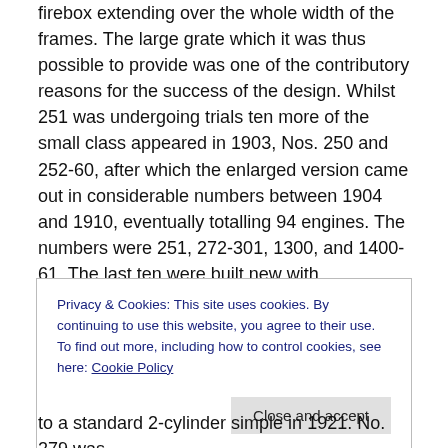firebox extending over the whole width of the frames. The large grate which it was thus possible to provide was one of the contributory reasons for the success of the design. Whilst 251 was undergoing trials ten more of the small class appeared in 1903, Nos. 250 and 252-60, after which the enlarged version came out in considerable numbers between 1904 and 1910, eventually totalling 94 engines. The numbers were 251, 272-301, 1300, and 1400-61. The last ten were built new with superheaters and had sundry other improvements. Eventually the remainder of the class was also superheated.
Privacy & Cookies: This site uses cookies. By continuing to use this website, you agree to their use.
To find out more, including how to control cookies, see here: Cookie Policy
Close and accept
to a standard 2-cylinder simple in 1921. No. 279 was